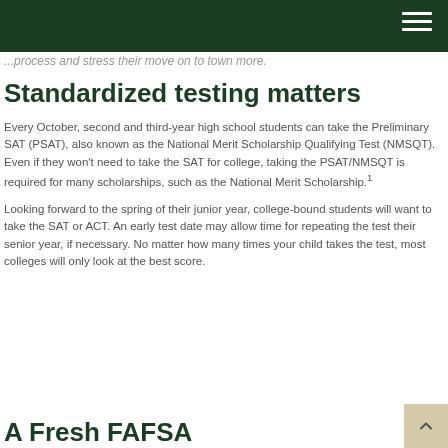navigation bar
...process and stress their move on to town more.
Standardized testing matters
Every October, second and third-year high school students can take the Preliminary SAT (PSAT), also known as the National Merit Scholarship Qualifying Test (NMSQT). Even if they won't need to take the SAT for college, taking the PSAT/NMSQT is required for many scholarships, such as the National Merit Scholarship.¹
Looking forward to the spring of their junior year, college-bound students will want to take the SAT or ACT. An early test date may allow time for repeating the test their senior year, if necessary. No matter how many times your child takes the test, most colleges will only look at the best score.
A Fresh FAFSA